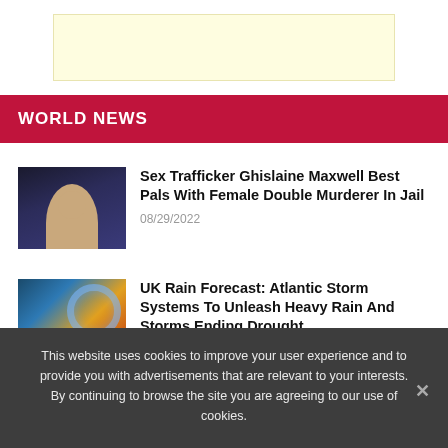[Figure (other): Advertisement banner placeholder with light yellow background]
WORLD NEWS
[Figure (photo): Photo of Ghislaine Maxwell]
Sex Trafficker Ghislaine Maxwell Best Pals With Female Double Murderer In Jail
08/29/2022
[Figure (photo): Satellite image of Atlantic storm systems]
UK Rain Forecast: Atlantic Storm Systems To Unleash Heavy Rain And Storms Ending Drought
This website uses cookies to improve your user experience and to provide you with advertisements that are relevant to your interests. By continuing to browse the site you are agreeing to our use of cookies.